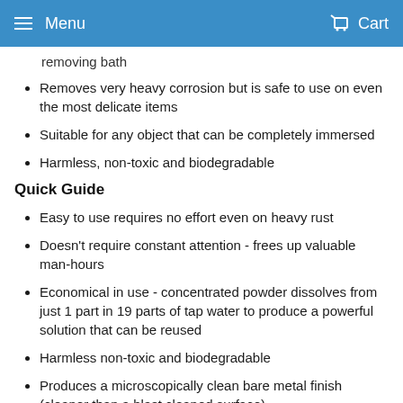Menu  Cart
removing bath
Removes very heavy corrosion but is safe to use on even the most delicate items
Suitable for any object that can be completely immersed
Harmless, non-toxic and biodegradable
Quick Guide
Easy to use requires no effort even on heavy rust
Doesn't require constant attention - frees up valuable man-hours
Economical in use - concentrated powder dissolves from just 1 part in 19 parts of tap water to produce a powerful solution that can be reused
Harmless non-toxic and biodegradable
Produces a microscopically clean bare metal finish (cleaner than a blast cleaned surface)
Does not destroy or distort delicate steel